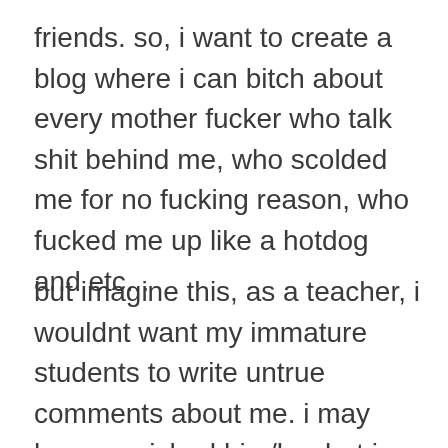friends. so, i want to create a blog where i can bitch about every mother fucker who talk shit behind me, who scolded me for no fucking reason, who fucked me up like a hotdog and etc...
but imagine this, as a teacher, i wouldnt want my immature students to write untrue comments about me. i may have punished him/her but i could've a very valid reason for doing so. teachers don't usually (i emphasize on the fucking word called USUALLY) punish the students without any fucking reason ya know?